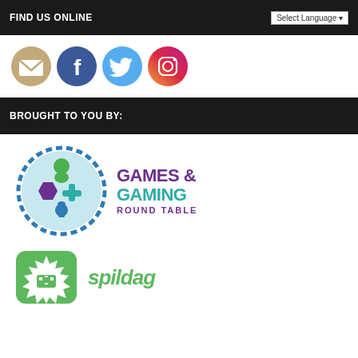FIND US ONLINE
[Figure (illustration): Four social media icon circles: email (tan), Facebook (blue), Twitter (light blue), Instagram (gradient purple-orange)]
BROUGHT TO YOU BY:
[Figure (logo): Games & Gaming Round Table logo with circular icon containing game pieces (meeple, chess piece, controller buttons, hexagon) in green, purple, teal, blue on light blue background with blue dashed circle border, and text 'GAMES & GAMING ROUND TABLE' in purple and teal]
[Figure (logo): Spildag logo: green rounded square with white starburst/crown shape and pixelated game controller, with text 'spildag' in green italic letters]